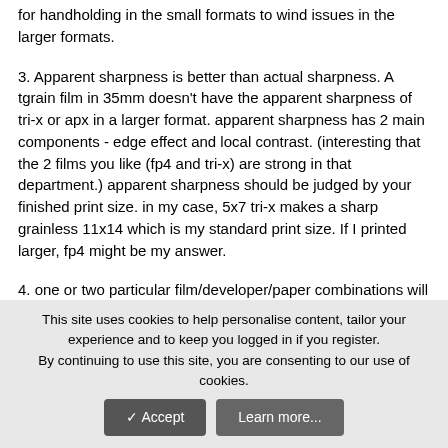for handholding in the small formats to wind issues in the larger formats.
3. Apparent sharpness is better than actual sharpness. A tgrain film in 35mm doesn't have the apparent sharpness of tri-x or apx in a larger format. apparent sharpness has 2 main components - edge effect and local contrast. (interesting that the 2 films you like (fp4 and tri-x) are strong in that department.) apparent sharpness should be judged by your finished print size. in my case, 5x7 tri-x makes a sharp grainless 11x14 which is my standard print size. If I printed larger, fp4 might be my answer.
4. one or two particular film/developer/paper combinations will look much better to you than anything else. experiment enough to find your favorites and then stick with them. once you make your pick, your technical angst will abate and you can spend your time on the image. My personal FDP combination is Tri-x 320 in pyrocat HD, printed on Bergger VCCB paper.
My life is now simple.
This site uses cookies to help personalise content, tailor your experience and to keep you logged in if you register.
By continuing to use this site, you are consenting to our use of cookies.